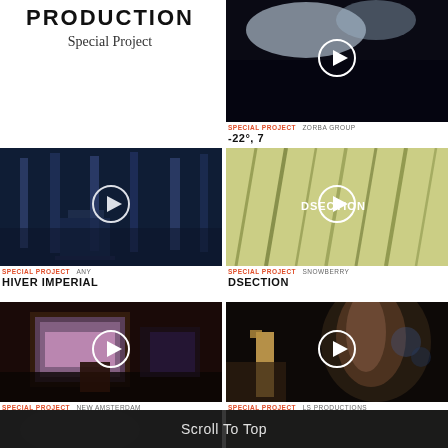PRODUCTION
Special Project
[Figure (photo): Top right video thumbnail – aerial dark snowy landscape with play button. Labels: SPECIAL PROJECT | ZORBA GROUP. Title: -22°, 7]
SPECIAL PROJECT  ZORBA GROUP
-22°, 7
[Figure (photo): Video thumbnail – snowy blue forest scene with play button. Labels: SPECIAL PROJECT | ANY. Title: HIVER IMPERIAL]
SPECIAL PROJECT  ANY
HIVER IMPERIAL
[Figure (photo): Video thumbnail – green leaves close-up with DSECTION play button overlay. Labels: SPECIAL PROJECT | SNOWBERRY. Title: DSECTION]
SPECIAL PROJECT  SNOWBERRY
DSECTION
[Figure (photo): Video thumbnail – exhibition hall with projections and silhouette. Labels: SPECIAL PROJECT | NEW AMSTERDAM. Title: HOLLAND HEINEKEN HOUSE]
SPECIAL PROJECT  NEW AMSTERDAM
HOLLAND HEINEKEN HOUSE
[Figure (photo): Video thumbnail – woman with whiskey bottle in bar. Labels: SPECIAL PROJECT | LS PRODUCTIONS. Title: STEP RIGHT UP]
SPECIAL PROJECT  LS PRODUCTIONS
STEP RIGHT UP
[Figure (photo): Partial bottom row thumbnail – dark moody image (left)]
[Figure (photo): Partial bottom row thumbnail – dark moody image (right)]
Scroll To Top